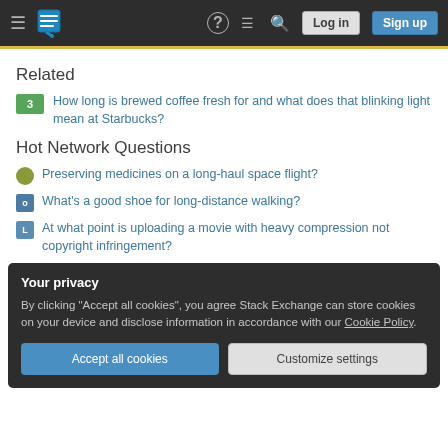Stack Exchange navigation bar with hamburger menu, logo, help, chat, search, Log in, Sign up
Related
3  How long is brewed coffee fresh for and what does that blinking light mean at Starbucks?
Hot Network Questions
Preserving medicines on a long-haul space flight?
What's a good shoe for long-distance walking?
At what point is uploading a movie with heavy compression not copyright infringement?
Your privacy
By clicking "Accept all cookies", you agree Stack Exchange can store cookies on your device and disclose information in accordance with our Cookie Policy.